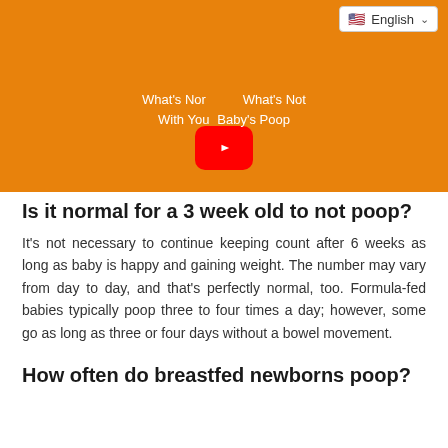[Figure (screenshot): YouTube video thumbnail with orange background showing title 'What's Normal & What's Not With Your Baby's Poop' with a red YouTube play button in the center. A language selector showing 'English' with a US flag is in the top right corner.]
Is it normal for a 3 week old to not poop?
It's not necessary to continue keeping count after 6 weeks as long as baby is happy and gaining weight. The number may vary from day to day, and that's perfectly normal, too. Formula-fed babies typically poop three to four times a day; however, some go as long as three or four days without a bowel movement.
How often do breastfed newborns poop?